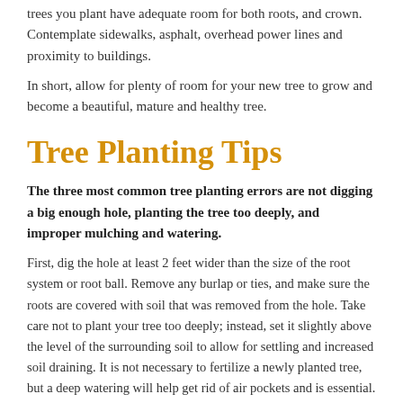trees you plant have adequate room for both roots, and crown. Contemplate sidewalks, asphalt, overhead power lines and proximity to buildings.
In short, allow for plenty of room for your new tree to grow and become a beautiful, mature and healthy tree.
Tree Planting Tips
The three most common tree planting errors are not digging a big enough hole, planting the tree too deeply, and improper mulching and watering.
First, dig the hole at least 2 feet wider than the size of the root system or root ball. Remove any burlap or ties, and make sure the roots are covered with soil that was removed from the hole. Take care not to plant your tree too deeply; instead, set it slightly above the level of the surrounding soil to allow for settling and increased soil draining. It is not necessary to fertilize a newly planted tree, but a deep watering will help get rid of air pockets and is essential.